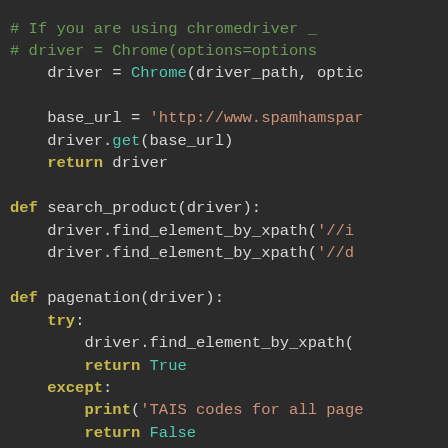[Figure (screenshot): Python source code editor screenshot on dark background showing code with syntax highlighting: comments in green, keywords in yellow, function calls in teal, strings in orange-red. Code includes driver setup, base_url assignment, search_product and pagenation function definitions with find_element_by_xpath calls, try/except block with return True/False and print statement.]